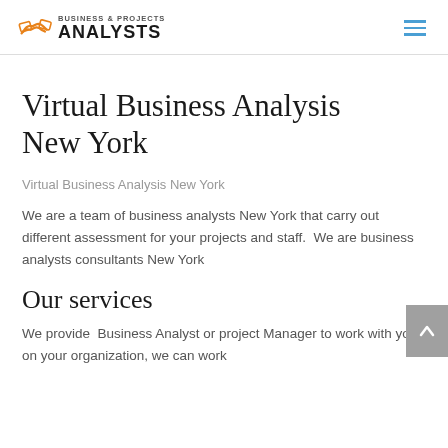BUSINESS & PROJECTS ANALYSTS
Virtual Business Analysis New York
Virtual Business Analysis New York
We are a team of business analysts New York that carry out different assessment for your projects and staff.  We are business analysts consultants New York
Our services
We provide  Business Analyst or project Manager to work with you on your organization, we can work